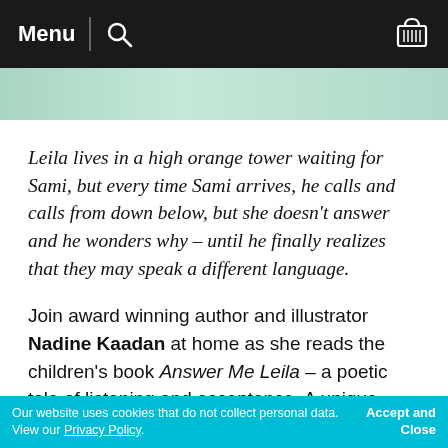Menu | [search icon] [basket icon]
[Figure (photo): Partial cropped image strip showing a teal/green background, appears to be top of a book cover or illustration]
Leila lives in a high orange tower waiting for Sami, but every time Sami arrives, he calls and calls from down below, but she doesn't answer and he wonders why – until he finally realizes that they may speak a different language.
Join award winning author and illustrator Nadine Kaadan at home as she reads the children's book Answer Me Leila – a poetic tale of listening and acceptance. A unique opportunity to join the author as she brings her own story to life, this
Our website uses cookies that do not collect personal data. View our Privacy Policy.    Accept and Close